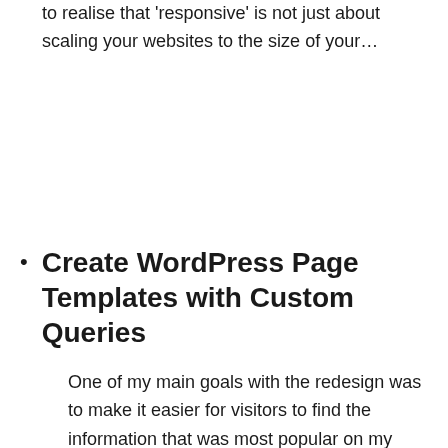to realise that 'responsive' is not just about scaling your websites to the size of your…
Create WordPress Page Templates with Custom Queries
One of my main goals with the redesign was to make it easier for visitors to find the information that was most popular on my site. Not to my surprise, posts about